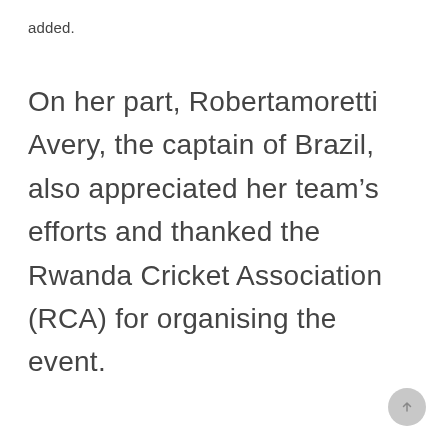added.
On her part, Robertamoretti Avery, the captain of Brazil, also appreciated her team’s efforts and thanked the Rwanda Cricket Association (RCA) for organising the event.